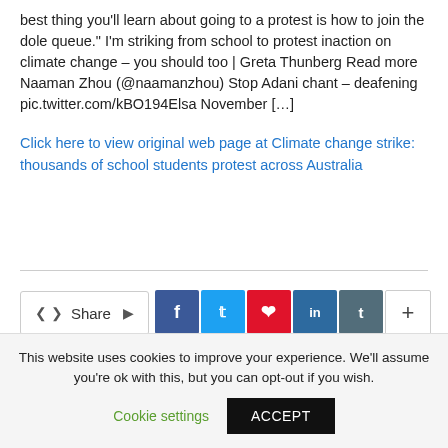best thing you'll learn about going to a protest is how to join the dole queue." I'm striking from school to protest inaction on climate change – you should too | Greta Thunberg Read more Naaman Zhou (@naamanzhou) Stop Adani chant – deafening pic.twitter.com/kBO194Elsa November […]
Click here to view original web page at Climate change strike: thousands of school students protest across Australia
[Figure (other): Social share bar with share label and social media buttons: Facebook (f), Twitter (bird), Pinterest (p), LinkedIn (in), Tumblr (t), and a plus (+) button]
This website uses cookies to improve your experience. We'll assume you're ok with this, but you can opt-out if you wish. Cookie settings ACCEPT